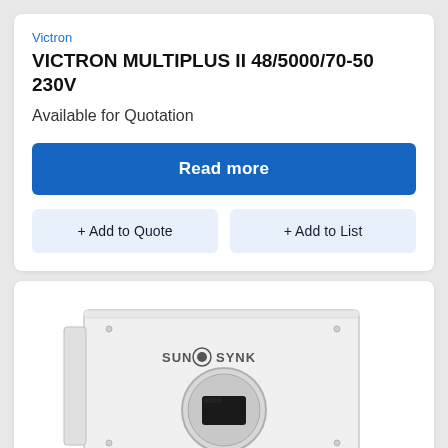Victron
VICTRON MULTIPLUS II 48/5000/70-50 230V
Available for Quotation
Read more
+ Add to Quote
+ Add to List
[Figure (photo): Sunsynk inverter unit — white rectangular wall-mounted inverter with 'SUN SYNK' logo and a circular display screen with a small dark LCD panel in the center]